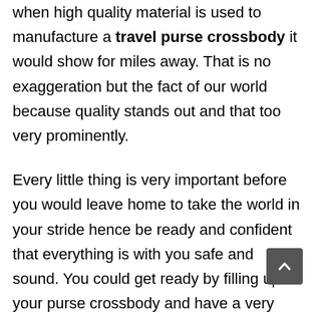when high quality material is used to manufacture a travel purse crossbody it would show for miles away. That is no exaggeration but the fact of our world because quality stands out and that too very prominently.

Every little thing is very important before you would leave home to take the world in your stride hence be ready and confident that everything is with you safe and sound. You could get ready by filling up your purse crossbody and have a very